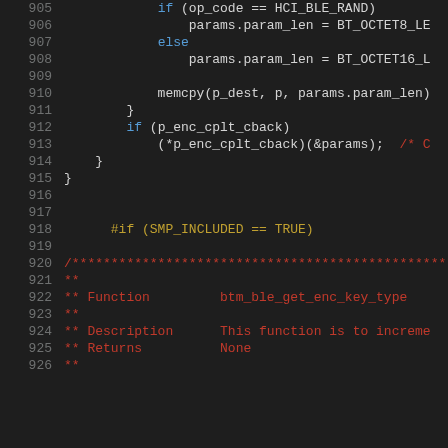[Figure (screenshot): Source code listing showing C code lines 905-926 with syntax highlighting on dark background. Lines 905-915 show if/else logic with memcpy call and callback invocation. Lines 918-925 show a preprocessor directive and a comment block for function btm_ble_get_enc_key_type.]